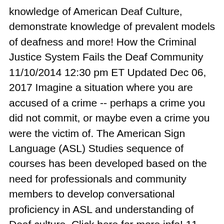knowledge of American Deaf Culture, demonstrate knowledge of prevalent models of deafness and more! How the Criminal Justice System Fails the Deaf Community 11/10/2014 12:30 pm ET Updated Dec 06, 2017 Imagine a situation where you are accused of a crime -- perhaps a crime you did not commit, or maybe even a crime you were the victim of. The American Sign Language (ASL) Studies sequence of courses has been developed based on the need for professionals and community members to develop conversational proficiency in ASL and understanding of Deaf culture. Click here for more info! 11. Have fun with your kids by teaching them 11 spooky ASL signs for Halloween. The Criminal Justice Technology curriculum is designed to provide knowledge of criminal justice systems and operations. 2 Page(s). The ability to create word lists is available full members. The video above is NOT a single sign, rather it is composed of multiple signs in the sentence. Sheriff. Many conceptions related to social justice have been formulated over the years and thinking has evolved as has societal...